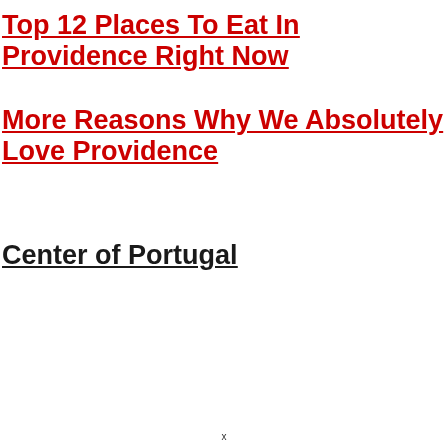Top 12 Places To Eat In Providence Right Now
More Reasons Why We Absolutely Love Providence
Center of Portugal